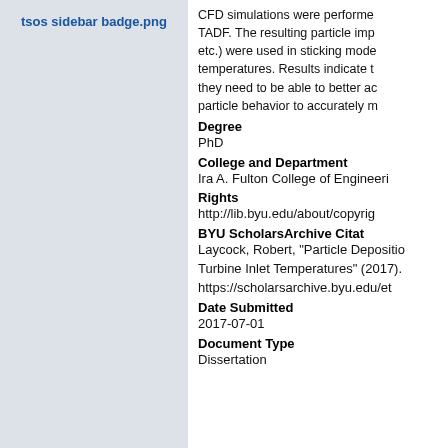[Figure (other): Sidebar badge placeholder labeled 'tsos sidebar badge.png' on a light gray background]
CFD simulations were performed to model TADF. The resulting particle imp etc.) were used in sticking mode temperatures. Results indicate t they need to be able to better ac particle behavior to accurately m
Degree
PhD
College and Department
Ira A. Fulton College of Engineeri
Rights
http://lib.byu.edu/about/copyrig
BYU ScholarsArchive Citat
Laycock, Robert, "Particle Depositio Turbine Inlet Temperatures" (2017). https://scholarsarchive.byu.edu/et
Date Submitted
2017-07-01
Document Type
Dissertation